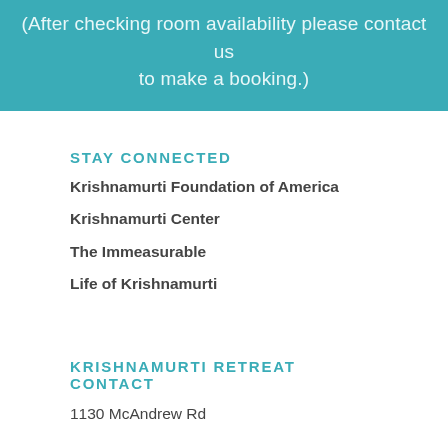(After checking room availability please contact us to make a booking.)
STAY CONNECTED
Krishnamurti Foundation of America
Krishnamurti Center
The Immeasurable
Life of Krishnamurti
KRISHNAMURTI RETREAT CONTACT
1130 McAndrew Rd